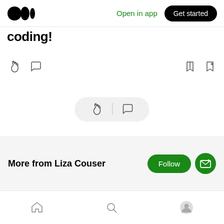[Figure (screenshot): Medium app top navigation bar with Medium logo (three dots), Open in app link, and Get started button]
coding!
[Figure (screenshot): Article action bar with clap icon, comment icon on left; share icon and bookmark-plus icon on right]
[Figure (screenshot): Floating pill action bar with clap icon, divider, and comment icon]
More from Liza Couser
[Figure (screenshot): Follow button (green pill) and subscribe/email button (green circle with envelope+) for Liza Couser]
[Figure (screenshot): Bottom navigation bar with home icon, search icon, and profile icon]